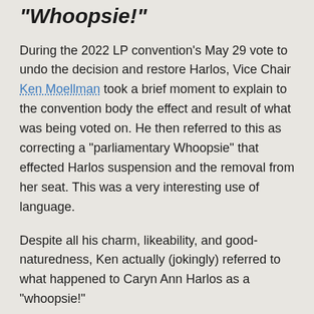“Whoopsie!”
During the 2022 LP convention’s May 29 vote to undo the decision and restore Harlos, Vice Chair Ken Moellman took a brief moment to explain to the convention body the effect and result of what was being voted on. He then referred to this as correcting a “parliamentary Whoopsie” that effected Harlos suspension and the removal from her seat. This was a very interesting use of language.
Despite all his charm, likeability, and good-naturedness, Ken actually (jokingly) referred to what happened to Caryn Ann Harlos as a “whoopsie!”
This off-hand remark is perhaps a small thing to focus on. But let us correct the record:
What happened to Caryn Ann was not a “whoopsie” or